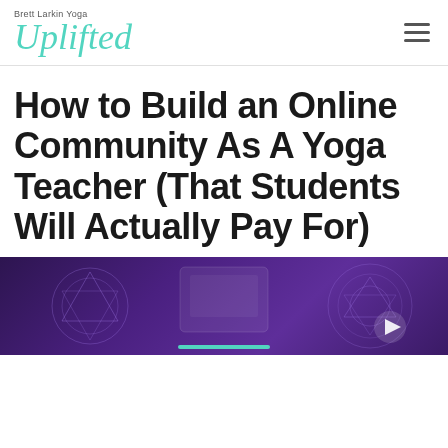Brett Larkin Yoga Uplifted
How to Build an Online Community As A Yoga Teacher (That Students Will Actually Pay For)
[Figure (screenshot): Video thumbnail with purple background showing decorative geometric/mandala patterns and a play button on the right side]